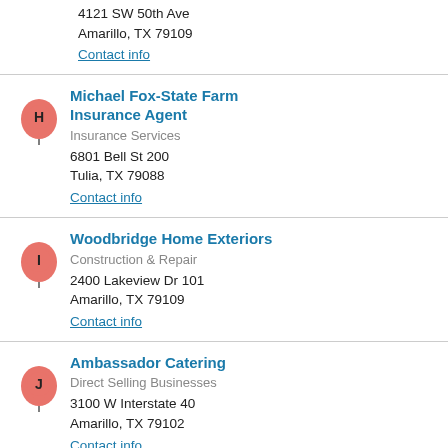4121 SW 50th Ave
Amarillo, TX 79109
Contact info
Michael Fox-State Farm Insurance Agent
Insurance Services
6801 Bell St 200
Tulia, TX 79088
Contact info
Woodbridge Home Exteriors
Construction & Repair
2400 Lakeview Dr 101
Amarillo, TX 79109
Contact info
Ambassador Catering
Direct Selling Businesses
3100 W Interstate 40
Amarillo, TX 79102
Contact info
<< prev 1 2 3 4 5 6 7